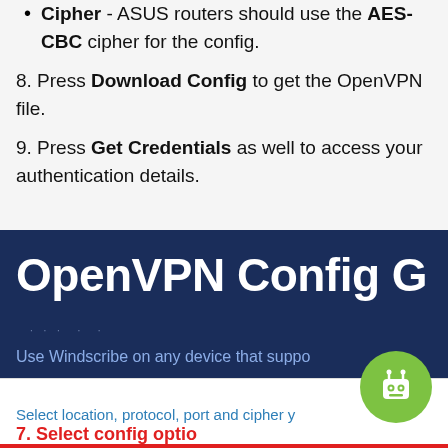Cipher - ASUS routers should use the AES-CBC cipher for the config.
8. Press Download Config to get the OpenVPN file.
9. Press Get Credentials as well to access your authentication details.
[Figure (screenshot): Screenshot of OpenVPN Config Generator page from Windscribe. Shows title 'OpenVPN Config G...' in white text on dark navy background, subtitle 'Use Windscribe on any device that suppo...', a green robot icon, text 'Select location, protocol, port and cipher y...' in blue, and '7. Select config optio...' in red bold text at the bottom.]